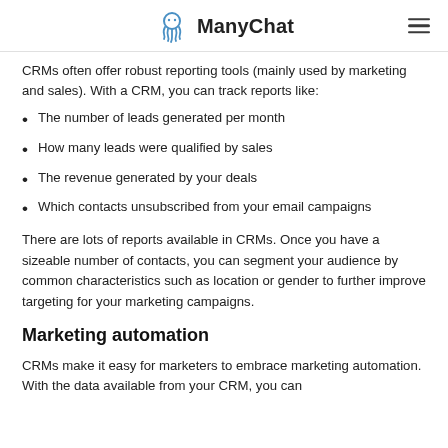ManyChat
CRMs often offer robust reporting tools (mainly used by marketing and sales). With a CRM, you can track reports like:
The number of leads generated per month
How many leads were qualified by sales
The revenue generated by your deals
Which contacts unsubscribed from your email campaigns
There are lots of reports available in CRMs. Once you have a sizeable number of contacts, you can segment your audience by common characteristics such as location or gender to further improve targeting for your marketing campaigns.
Marketing automation
CRMs make it easy for marketers to embrace marketing automation. With the data available from your CRM, you can